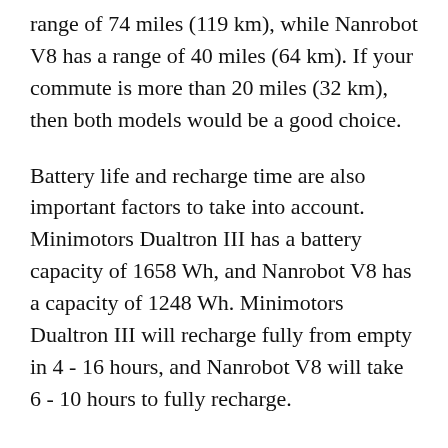range of 74 miles (119 km), while Nanrobot V8 has a range of 40 miles (64 km). If your commute is more than 20 miles (32 km), then both models would be a good choice.
Battery life and recharge time are also important factors to take into account. Minimotors Dualtron III has a battery capacity of 1658 Wh, and Nanrobot V8 has a capacity of 1248 Wh. Minimotors Dualtron III will recharge fully from empty in 4 - 16 hours, and Nanrobot V8 will take 6 - 10 hours to fully recharge.
An electric scooter also needs to be able to support the weight of the rider. Minimotors Dualtron III has a maximum rider weight of 264